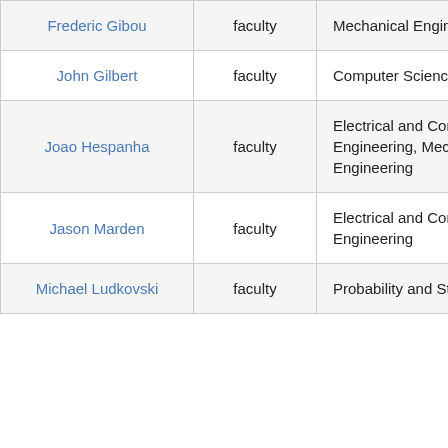| Name | Role | Department | URL |
| --- | --- | --- | --- |
| Frederic Gibou | faculty | Mechanical Engineering | https://engine... |
| John Gilbert | faculty | Computer Science | http://www.cs... |
| Joao Hespanha | faculty | Electrical and Computer Engineering, Mechanical Engineering | http://ece.ucs... |
| Jason Marden | faculty | Electrical and Computer Engineering | http://ece.ucs... |
| Michael Ludkovski | faculty | Probability and Statistics | http://www.ps... |